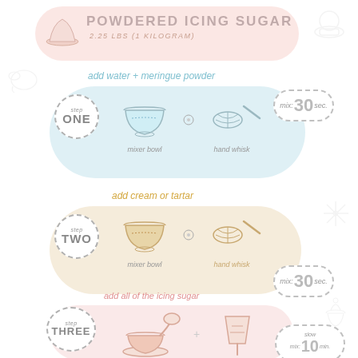POWDERED ICING SUGAR
2.25 LBS (1 KILOGRAM)
Step ONE — add water + meringue powder — mix: 30 sec. — mixer bowl + hand whisk
Step TWO — add cream or tartar — mix: 30 sec. — mixer bowl + hand whisk
Step THREE — add all of the icing sugar — slow mix: 10 min. — mixer + paddle